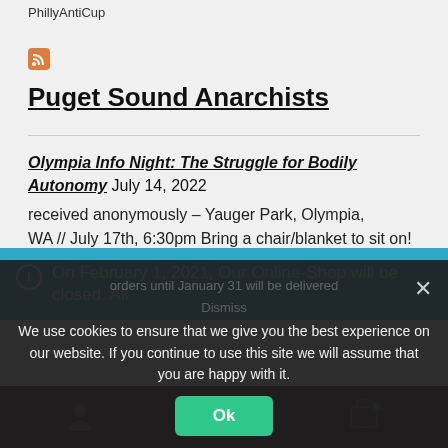PhillyAntiCup
[Figure (logo): RSS feed orange icon]
Puget Sound Anarchists
Olympia Info Night: The Struggle for Bodily Autonomy July 14, 2022
received anonymously – Yauger Park, Olympia, WA // July 17th, 6:30pm Bring a chair/blanket to sit on! // Please wear a mask! // The revoking of the Roe V. Wade decision is the latest attack...
On February 1, 2021, Our Online-Shop will be closed. All orders until January 31 will be delivered
We use cookies to ensure that we give you the best experience on our website. If you continue to use this site we will assume that you are happy with it.